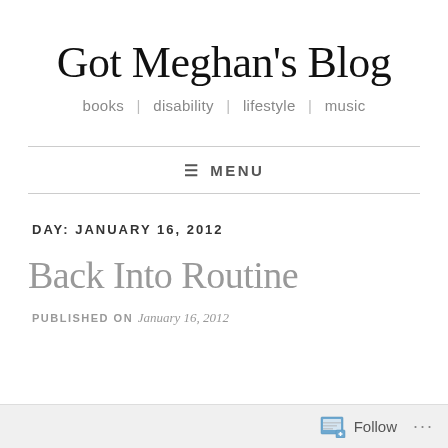Got Meghan's Blog
books | disability | lifestyle | music
≡ MENU
DAY: JANUARY 16, 2012
Back Into Routine
PUBLISHED ON January 16, 2012
Follow